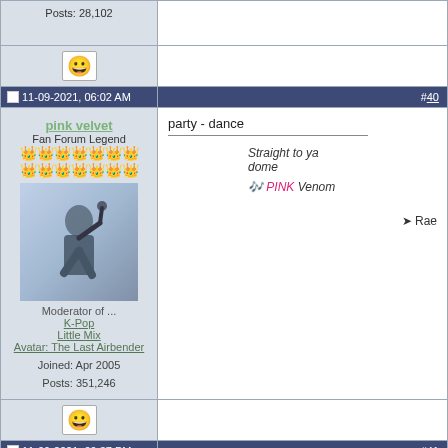Posts: 28,102
11-09-2021, 06:02 AM  #40
pink velvet
Fan Forum Legend
Moderator of ...
K-Pop
Little Mix
Avatar: The Last Airbender
Joined: Apr 2005
Posts: 351,246
party - dance

Straight to ya dome
🎵 PINK Venom

🪁 Rae
11-09-2021, 09:37 PM  #41
gold-steps
Elite Fan
dance-sing